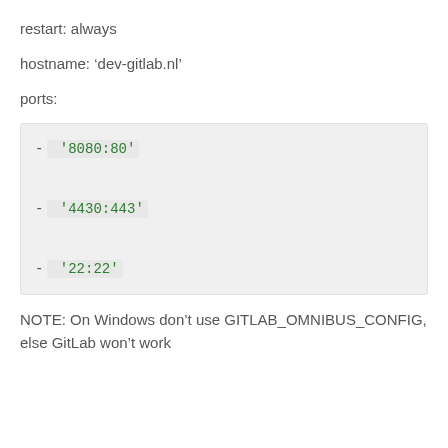restart: always
hostname: 'dev-gitlab.nl'
ports:
-  '8080:80'
-  '4430:443'
-  '22:22'
NOTE: On Windows don't use GITLAB_OMNIBUS_CONFIG, else GitLab won't work